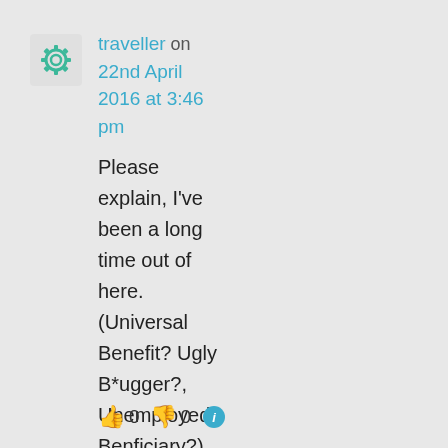traveller on 22nd April 2016 at 3:46 pm
Please explain, I've been a long time out of here. (Universal Benefit? Ugly B*ugger?, Unemployed Benficiary?).
👍 0 👎 0 ℹ